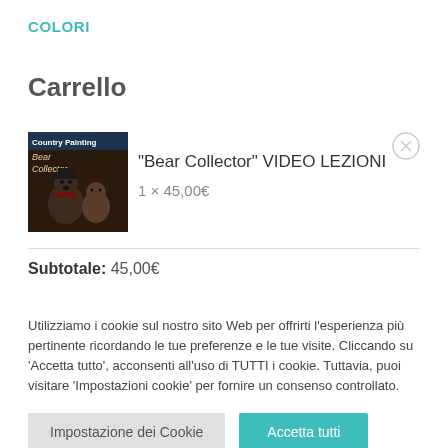COLORI
Carrello
[Figure (illustration): Thumbnail image of Bear Collector video lesson product showing painted bear figurines]
"Bear Collector" VIDEO LEZIONI
1 × 45,00€
Subtotale: 45,00€
Utilizziamo i cookie sul nostro sito Web per offrirti l'esperienza più pertinente ricordando le tue preferenze e le tue visite. Cliccando su 'Accetta tutto', acconsenti all'uso di TUTTI i cookie. Tuttavia, puoi visitare 'Impostazioni cookie' per fornire un consenso controllato.
Impostazione dei Cookie | Accetta tutti